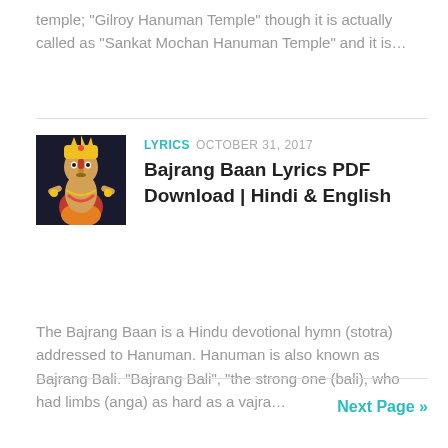temple; “Gilroy Hanuman Temple” though it is actually called as “Sankat Mochan Hanuman Temple” and it is…
[Figure (photo): Illustration of Lord Hanuman, a Hindu deity, depicted in golden and orange attire with a crown]
LYRICS  OCTOBER 31, 2017
Bajrang Baan Lyrics PDF Download | Hindi & English
The Bajrang Baan is a Hindu devotional hymn (stotra) addressed to Hanuman. Hanuman is also known as Bajrang Bali. “Bajrang Bali”, “the strong one (bali), who had limbs (anga) as hard as a vajra…
Next Page »